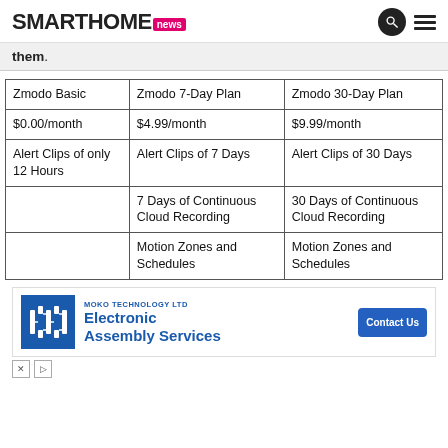SMARTHOME.news
them.
| Zmodo Basic | Zmodo 7-Day Plan | Zmodo 30-Day Plan |
| --- | --- | --- |
| $0.00/month | $4.99/month | $9.99/month |
| Alert Clips of only 12 Hours | Alert Clips of 7 Days | Alert Clips of 30 Days |
|  | 7 Days of Continuous Cloud Recording | 30 Days of Continuous Cloud Recording |
|  | Motion Zones and Schedules | Motion Zones and Schedules |
[Figure (other): Advertisement for Moko Technology Ltd - Electronic Assembly Services with Contact Us button]